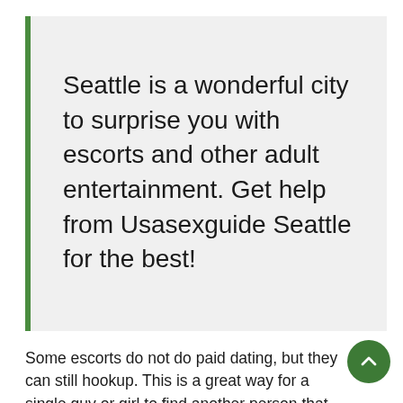Seattle is a wonderful city to surprise you with escorts and other adult entertainment. Get help from Usasexguide Seattle for the best!
Some escorts do not do paid dating, but they can still hookup. This is a great way for a single guy or girl to find another person that they might